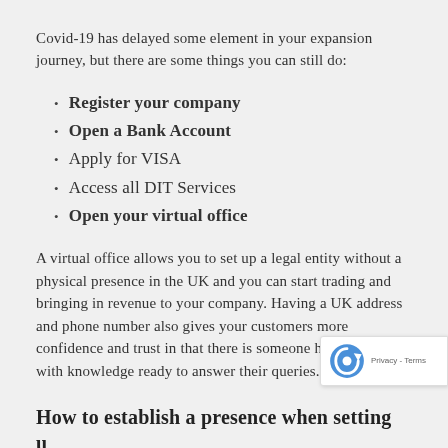Covid-19 has delayed some element in your expansion journey, but there are some things you can still do:
Register your company
Open a Bank Account
Apply for VISA
Access all DIT Services
Open your virtual office
A virtual office allows you to set up a legal entity without a physical presence in the UK and you can start trading and bringing in revenue to your company. Having a UK address and phone number also gives your customers more confidence and trust in that there is someone here in the UK with knowledge ready to answer their queries.
How to establish a presence when setting up the UK